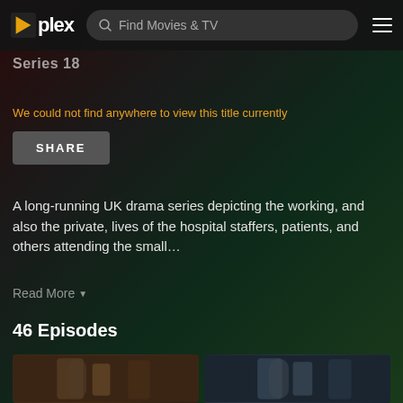plex | Find Movies & TV
Series 18
We could not find anywhere to view this title currently
SHARE
A long-running UK drama series depicting the working, and also the private, lives of the hospital staffers, patients, and others attending the small…
Read More ▼
46 Episodes
[Figure (photo): Two episode thumbnail images from the TV series Casualty, showing characters in hospital/dramatic scenes]